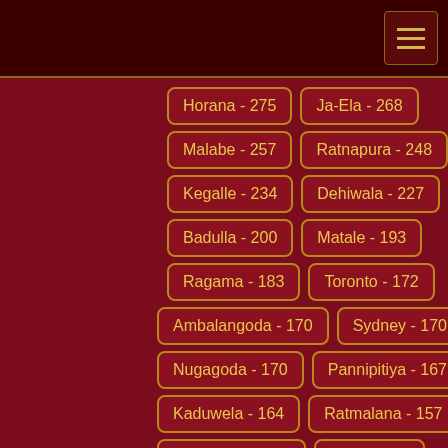Horana - 275
Ja-Ela - 268
Malabe - 257
Ratnapura - 248
Kegalle - 234
Dehiwala - 227
Badulla - 200
Matale - 193
Ragama - 183
Toronto - 172
Ambalangoda - 170
Sydney - 170
Nugagoda - 170
Pannipitiya - 167
Kaduwela - 164
Ratmalana - 157
Aturugiriya - 145
Kotte - 145
Anuradhapura - 144
Rajagiriya - 138
Adikarigoda - 137
Boralesgamuwa - 131